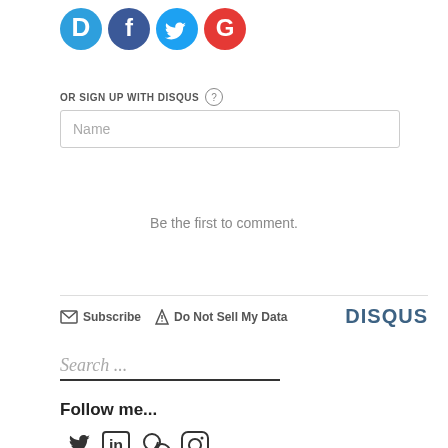[Figure (logo): Four social login icons: Disqus (blue D), Facebook (blue f), Twitter (blue bird), Google (red G)]
OR SIGN UP WITH DISQUS ?
[Figure (screenshot): Name input text field]
Be the first to comment.
[Figure (infographic): Disqus footer bar with Subscribe, Do Not Sell My Data links and DISQUS logo]
Search ...
Follow me...
[Figure (logo): Social media follow icons: Twitter, LinkedIn, Link, Instagram]